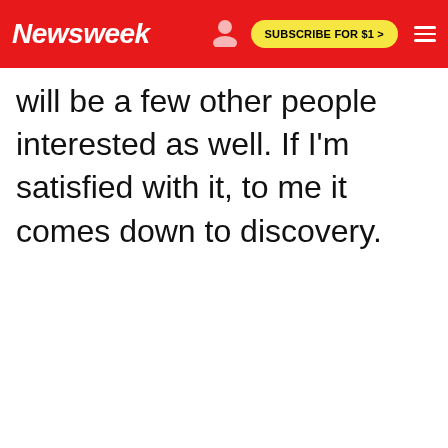Newsweek | SUBSCRIBE FOR $1 >
will be a few other people interested as well. If I'm satisfied with it, to me it comes down to discovery.